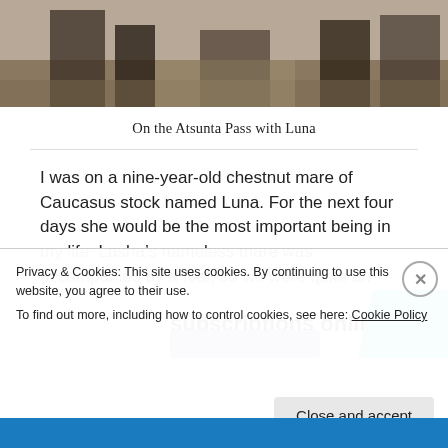[Figure (photo): Photo of people on the Atsunta Pass with horses, outdoor mountain/dusty terrain setting]
On the Atsunta Pass with Luna
I was on a nine-year-old chestnut mare of Caucasus stock named Luna. For the next four days she would be the most important being in my life. Lasha's nameless mare was accompanied by a foal, so we were quite an expedition.
[Figure (infographic): Advertisement banner showing 'subscriptions online' text in bold with a purple button and cyan/blue geometric shape on the right]
Privacy & Cookies: This site uses cookies. By continuing to use this website, you agree to their use.
To find out more, including how to control cookies, see here: Cookie Policy
Close and accept